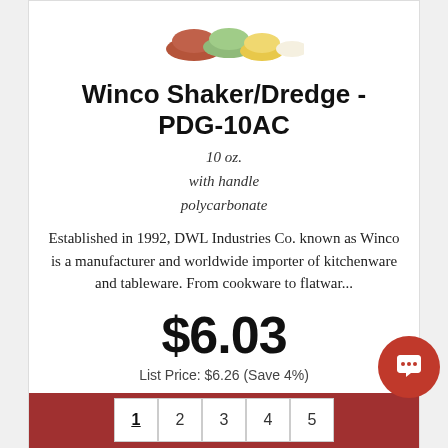[Figure (photo): Product image of colorful shakers/dredges at top of card]
Winco Shaker/Dredge - PDG-10AC
10 oz.
with handle
polycarbonate
Established in 1992, DWL Industries Co. known as Winco is a manufacturer and worldwide importer of kitchenware and tableware. From cookware to flatwar...
$6.03
List Price: $6.26 (Save 4%)
View Product
1 2 3 4 5